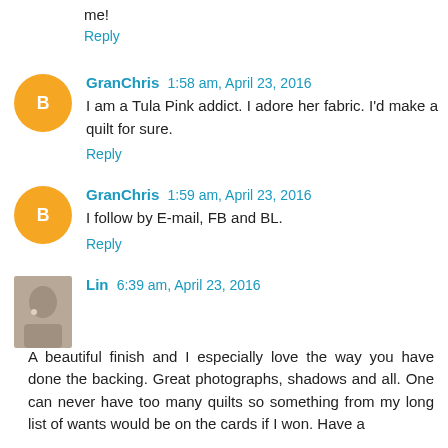me!
Reply
GranChris  1:58 am, April 23, 2016
I am a Tula Pink addict. I adore her fabric. I'd make a quilt for sure.
Reply
GranChris  1:59 am, April 23, 2016
I follow by E-mail, FB and BL.
Reply
Lin  6:39 am, April 23, 2016
A beautiful finish and I especially love the way you have done the backing. Great photographs, shadows and all. One can never have too many quilts so something from my long list of wants would be on the cards if I won. Have a